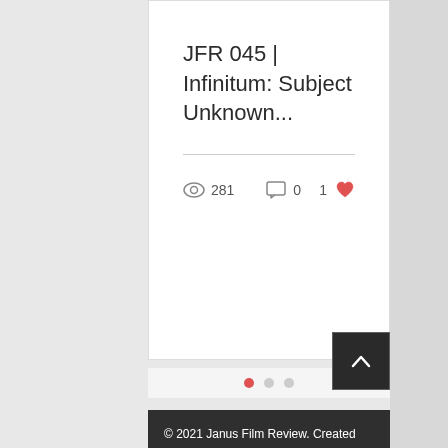JFR 045 | Infinitum: Subject Unknown...
281  0  1
© 2021 Janus Film Review. Created with Wix.com